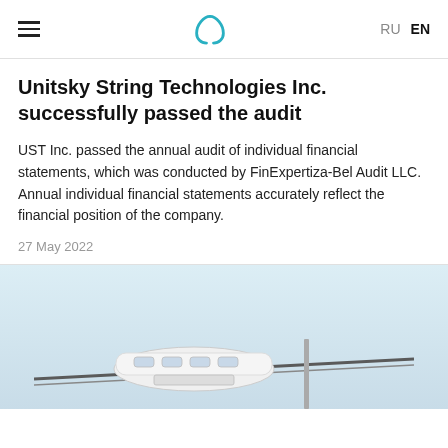UST Inc. — RU | EN navigation header
Unitsky String Technologies Inc. successfully passed the audit
UST Inc. passed the annual audit of individual financial statements, which was conducted by FinExpertiza-Bel Audit LLC. Annual individual financial statements accurately reflect the financial position of the company.
27 May 2022
[Figure (photo): Vehicle or transport pod on a string rail track against a light blue sky background]